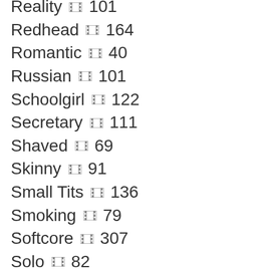Reality 🎬 101
Redhead 🎬 164
Romantic 🎬 40
Russian 🎬 101
Schoolgirl 🎬 122
Secretary 🎬 111
Shaved 🎬 69
Skinny 🎬 91
Small Tits 🎬 136
Smoking 🎬 79
Softcore 🎬 307
Solo 🎬 82
Spanking 🎬 183
Sport 🎬 78
Squirting 🎬 41
Stockings 🎬 293
Strapon 🎬 100
Striptease 🎬 166